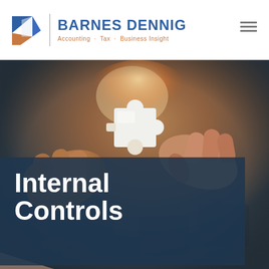[Figure (logo): Barnes Dennig logo with blue and orange geometric diamond shape, company name in blue, tagline in orange]
[Figure (photo): Hands holding puzzle pieces together with warm orange backlight, puzzle pieces visible in foreground]
Internal Controls